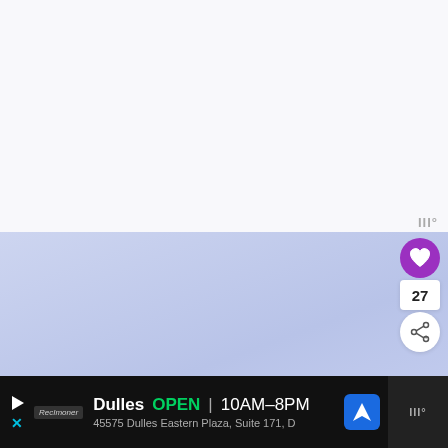[Figure (screenshot): Top white/light gray area of a webpage screenshot, mostly blank]
[Figure (screenshot): Light blue-lavender photograph/image area (sky or food photo background)]
III°
[Figure (screenshot): Purple circular heart/favorite button]
27
[Figure (screenshot): White circular share button with share icon]
[Figure (screenshot): WHAT'S NEXT panel with thumbnail and title: 30 Easy Sheet Pan Dinner...]
[Figure (screenshot): Bottom black advertisement bar: Dulles OPEN 10AM-8PM, 45575 Dulles Eastern Plaza, Suite 171, D]